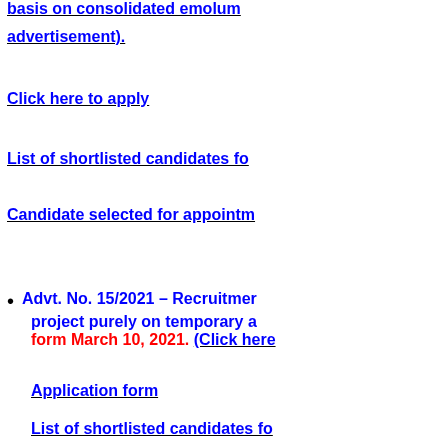basis on consolidated emoluments (Click here for detailed advertisement).
Click here to apply
List of shortlisted candidates fo...
Candidate selected for appointme...
Advt. No. 15/2021 – Recruitment... project purely on temporary a... form March 10, 2021. (Click here...)
Application form
List of shortlisted candidates fo...
Advt. No. 14/2021 – Recruitment... contractual basis on consolida... for detailed advertisement).
Application form
List of shortlisted candidates fo...